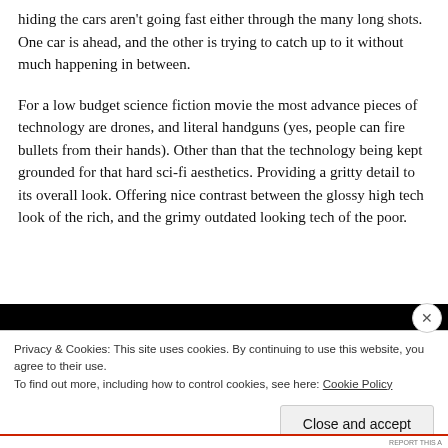hiding the cars aren't going fast either through the many long shots. One car is ahead, and the other is trying to catch up to it without much happening in between.
For a low budget science fiction movie the most advance pieces of technology are drones, and literal handguns (yes, people can fire bullets from their hands). Other than that the technology being kept grounded for that hard sci-fi aesthetics. Providing a gritty detail to its overall look. Offering nice contrast between the glossy high tech look of the rich, and the grimy outdated looking tech of the poor.
[Figure (screenshot): Black bar / video player strip at top of cookie banner overlay]
Privacy & Cookies: This site uses cookies. By continuing to use this website, you agree to their use.
To find out more, including how to control cookies, see here: Cookie Policy
Close and accept